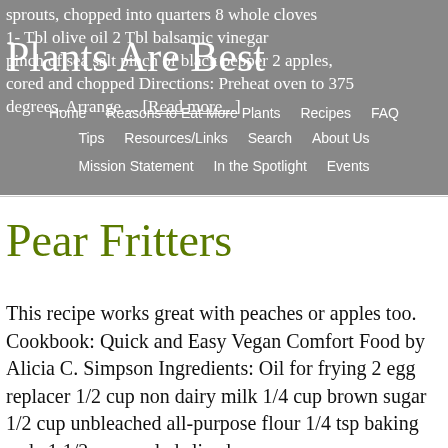sprouts, chopped into quarters 8 whole cloves 1- Tbl olive oil 2 Tbl balsamic vinegar pinch of sea salt pinch of black pepper 2 apples, cored and chopped Directions: Preheat oven to 375 degrees. Arrange ... [Read more...]
Plants Are Best
Home   Reasons to Eat More Plants   Recipes   FAQ   Tips   Resources/Links   Search   About Us   Mission Statement   In the Spotlight   Events
Pear Fritters
This recipe works great with peaches or apples too.  Cookbook: Quick and Easy Vegan Comfort Food by Alicia C. Simpson Ingredients: Oil for frying 2 egg replacer 1/2 cup non dairy milk 1/4 cup brown sugar 1/2 cup unbleached all-purpose flour 1/4 tsp baking soda 1 1/2 cup peeled sliced pears